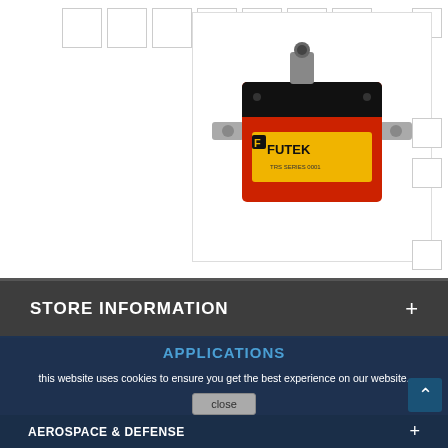[Figure (photo): FUTEK torque sensor product photo - a red and black rectangular sensor device with shaft connectors on each side and a circular connector on top, branded with FUTEK logo]
STORE INFORMATION
APPLICATIONS
this website uses cookies to ensure you get the best experience on our website.
AEROSPACE & DEFENSE